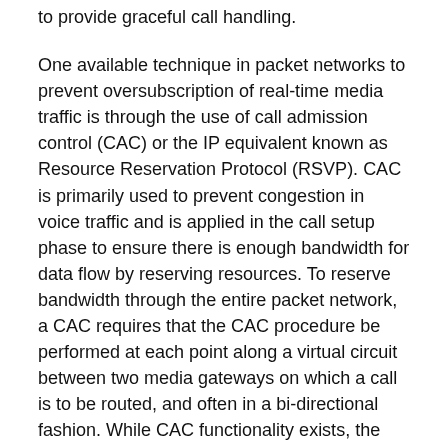to provide graceful call handling.
One available technique in packet networks to prevent oversubscription of real-time media traffic is through the use of call admission control (CAC) or the IP equivalent known as Resource Reservation Protocol (RSVP). CAC is primarily used to prevent congestion in voice traffic and is applied in the call setup phase to ensure there is enough bandwidth for data flow by reserving resources. To reserve bandwidth through the entire packet network, a CAC requires that the CAC procedure be performed at each point along a virtual circuit between two media gateways on which a call is to be routed, and often in a bi-directional fashion. While CAC functionality exists, the use of such CAC functionality is almost never applied because of the amount of time needed by the CAC procedure during call set up. For example, currently, CAC typically cannot operate over 40 calls per second and typical call set-ups on media gateways or class 4 switches may be 200 calls per second or higher.
One technique used to monitor the performance of IP session performance (i.e., after a call session has been established) through the use of the packet protocol known as